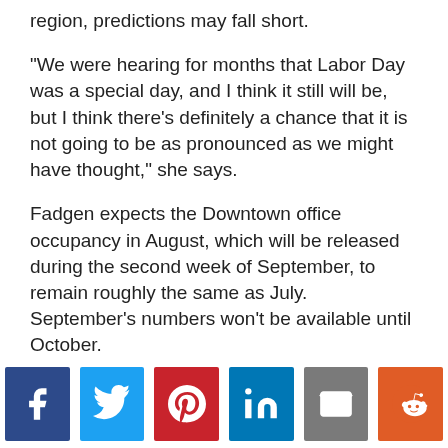region, predictions may fall short.
“We were hearing for months that Labor Day was a special day, and I think it still will be, but I think there’s definitely a chance that it is not going to be as pronounced as we might have thought,” she says.
Fadgen expects the Downtown office occupancy in August, which will be released during the second week of September, to remain roughly the same as July. September’s numbers won’t be available until October.
Regardless of the forecast, the impact of Downtown’s current state has already become clear: buildings
[Figure (infographic): Social sharing buttons: Facebook (dark blue), Twitter (light blue), Pinterest (red), LinkedIn (blue), Email (gray), Reddit (orange)]